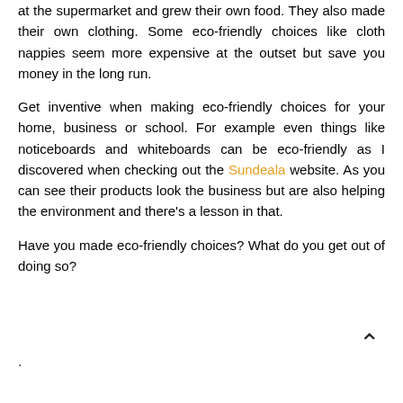at the supermarket and grew their own food. They also made their own clothing. Some eco-friendly choices like cloth nappies seem more expensive at the outset but save you money in the long run.
Get inventive when making eco-friendly choices for your home, business or school. For example even things like noticeboards and whiteboards can be eco-friendly as I discovered when checking out the Sundeala website. As you can see their products look the business but are also helping the environment and there's a lesson in that.
Have you made eco-friendly choices? What do you get out of doing so?